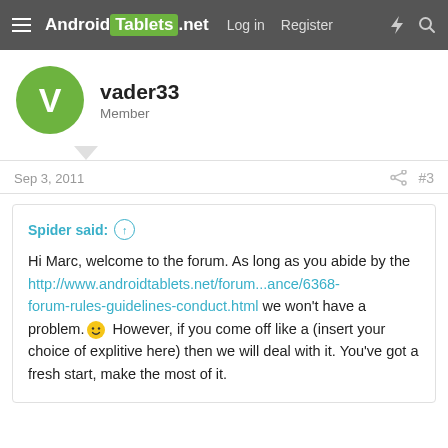Android Tablets .net  Log in  Register
vader33
Member
Sep 3, 2011   #3
Spider said:
Hi Marc, welcome to the forum. As long as you abide by the http://www.androidtablets.net/forum...ance/6368-forum-rules-guidelines-conduct.html we won't have a problem. :) However, if you come off like a (insert your choice of explitive here) then we will deal with it. You've got a fresh start, make the most of it.